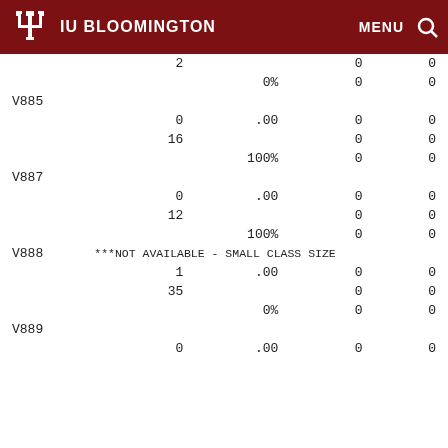IU BLOOMINGTON
|  | 2 |  | 0 | 0 |
|  |  | 0% | 0 | 0 |
| V885 |  |  |  |  |
|  | 0 | .00 | 0 | 0 |
|  | 16 |  | 0 | 0 |
|  |  | 100% | 0 | 0 |
| V887 |  |  |  |  |
|  | 0 | .00 | 0 | 0 |
|  | 12 |  | 0 | 0 |
|  |  | 100% | 0 | 0 |
| V888 | ***NOT AVAILABLE - SMALL CLASS SIZE |  |  |  |
|  | 1 | .00 | 0 | 0 |
|  | 35 |  | 0 | 0 |
|  |  | 0% | 0 | 0 |
| V889 |  |  |  |  |
|  | 0 | .00 | 0 | 0 |